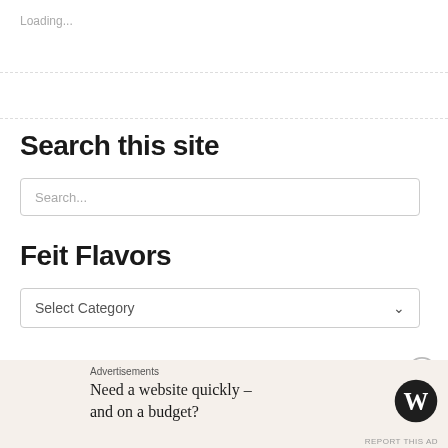Loading...
Search this site
Search...
Feit Flavors
Select Category
Feit Favorites
Advertisements
Need a website quickly – and on a budget?